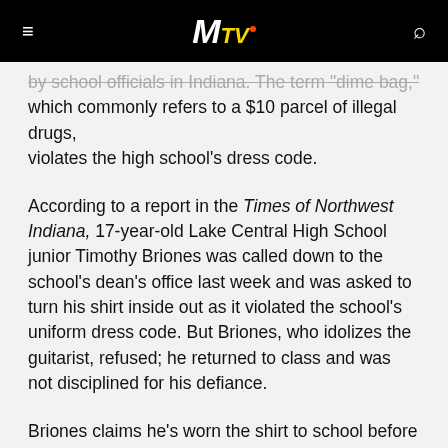MTV
by school officials in Indiana. The term "dime bag," which commonly refers to a $10 parcel of illegal drugs, violates the high school's dress code.
According to a report in the Times of Northwest Indiana, 17-year-old Lake Central High School junior Timothy Briones was called down to the school's dean's office last week and was asked to turn his shirt inside out as it violated the school's uniform dress code. But Briones, who idolizes the guitarist, refused; he returned to class and was not disciplined for his defiance.
Briones claims he's worn the shirt to school before without incident. His mother, Debra Briones, characterized the dean's request as a clear attempt to violate the student's First Amendment rights. She told the Times that she visited the school's principal this